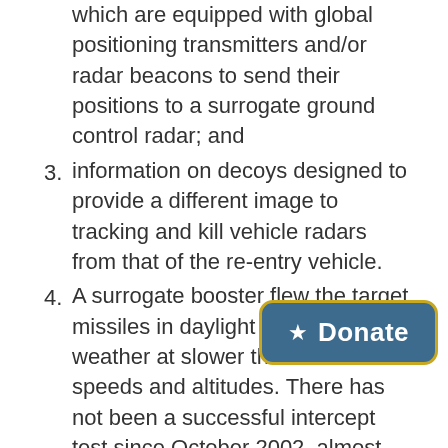which are equipped with global positioning transmitters and/or radar beacons to send their positions to a surrogate ground control radar; and
3. information on decoys designed to provide a different image to tracking and kill vehicle radars from that of the re-entry vehicle.
4. A surrogate booster flew the target missiles in daylight and good weather at slower than normal speeds and altitudes. There has not been a successful intercept test since October 2002, almost four years ago.
WHAT THE EXPERTS SAY
The previous tests, then, while useful developmental testing program, do little to tell if the system will work when needed in real life situations. The Pentagon chief for...